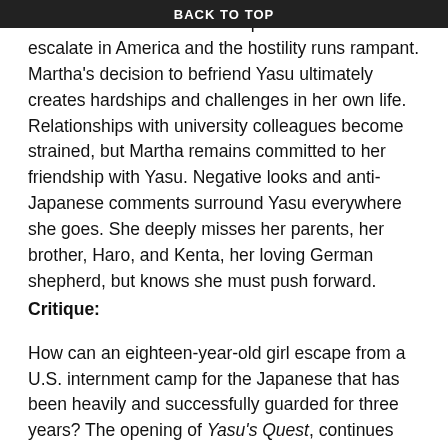BACK TO TOP
As the war intensifies anti-Japanese attitudes escalate in America and the hostility runs rampant. Martha's decision to befriend Yasu ultimately creates hardships and challenges in her own life. Relationships with university colleagues become strained, but Martha remains committed to her friendship with Yasu. Negative looks and anti-Japanese comments surround Yasu everywhere she goes. She deeply misses her parents, her brother, Haro, and Kenta, her loving German shepherd, but knows she must push forward.
Critique:
How can an eighteen-year-old girl escape from a U.S. internment camp for the Japanese that has been heavily and successfully guarded for three years? The opening of Yasu's Quest, continues the saga begun in Courageous Footsteps, which observed the pre-camp life and early internment of the Sakamoto family. Familiarity with this prior novel will lend a special appreciation for this